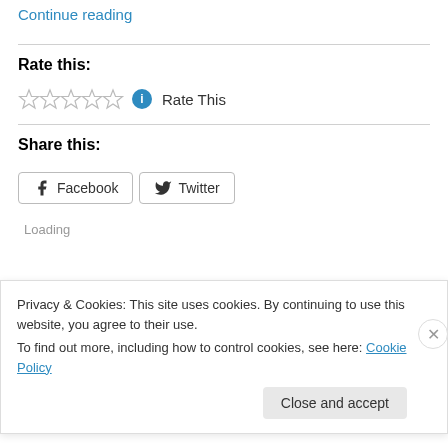Continue reading
Rate this:
[Figure (other): Five empty star rating widgets with an info icon and 'Rate This' text]
Share this:
[Figure (other): Facebook and Twitter share buttons with icons]
Loading
Privacy & Cookies: This site uses cookies. By continuing to use this website, you agree to their use.
To find out more, including how to control cookies, see here: Cookie Policy
Close and accept